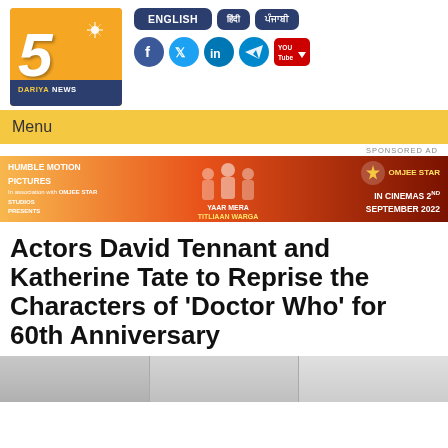[Figure (logo): 5 Dariya News logo — orange and navy blue with large numeral 5]
ENGLISH | [Hindi] | [Punjabi] | Social media icons (Facebook, Twitter, LinkedIn, Telegram, YouTube)
Menu
SPONSORED AD
[Figure (infographic): Advertisement banner for 'Yaar Mera Titliaan Warga' by Humble Motion Pictures in association with Omjee Star Studios — IN CINEMAS 2ND SEPTEMBER 2022]
Actors David Tennant and Katherine Tate to Reprise the Characters of 'Doctor Who' for 60th Anniversary
[Figure (photo): Partial photo strip showing two people at the bottom of the page]